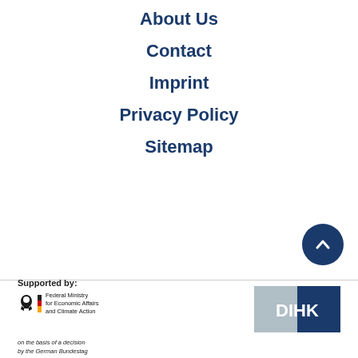About Us
Contact
Imprint
Privacy Policy
Sitemap
[Figure (other): Scroll-to-top button, dark navy circle with upward chevron]
Supported by:
[Figure (logo): Federal Ministry for Economic Affairs and Climate Action logo with German eagle and black-red-gold stripes]
on the basis of a decision by the German Bundestag
[Figure (logo): DIHK logo - grey and dark blue squares with white DIHK text]
[Figure (logo): IHK logo - grey and dark blue squares with white IHK text]
[Figure (logo): GTAI Germany Trade & Invest logo]
[Figure (other): MENU button - teal semicircle with hamburger icon and MENU label]